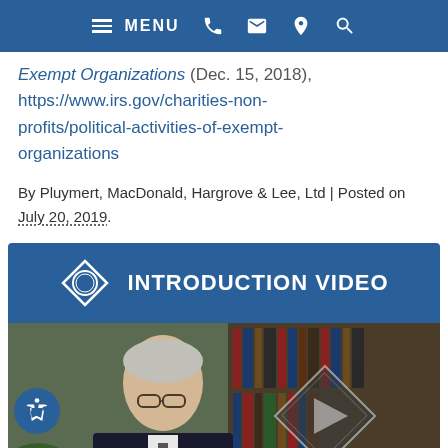MENU [navigation icons]
Exempt Organizations (Dec. 15, 2018), https://www.irs.gov/charities-non-profits/political-activities-of-exempt-organizations
By Pluymert, MacDonald, Hargrove & Lee, Ltd | Posted on July 20, 2019.
[Figure (screenshot): Introduction video banner with a diamond-shaped play icon and text 'INTRODUCTION VIDEO' on a blue background, with a video thumbnail showing a man in a suit in front of bookshelves with a diamond play button overlay]